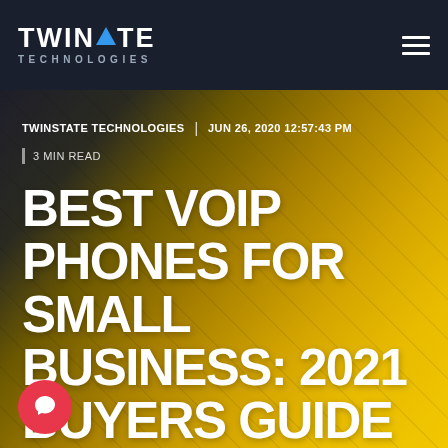TWINSTATE TECHNOLOGIES
TWINSTATE TECHNOLOGIES | JUN 26, 2020 12:57:43 PM
3 MIN READ
BEST VOIP PHONES FOR SMALL BUSINESS: 2021 BUYERS GUIDE